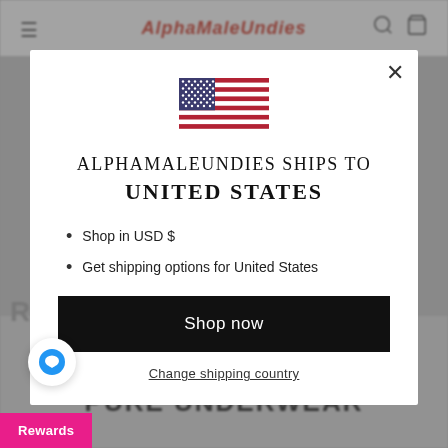[Figure (screenshot): Website background showing AlphaMaleUndies e-commerce site with navigation bar, logo in red, hamburger menu, search and cart icons, and footer text 'PURE UNDERWEAR']
[Figure (illustration): United States flag SVG illustration]
ALPHAMALEUNDIES SHIPS TO UNITED STATES
Shop in USD $
Get shipping options for United States
Shop now
Change shipping country